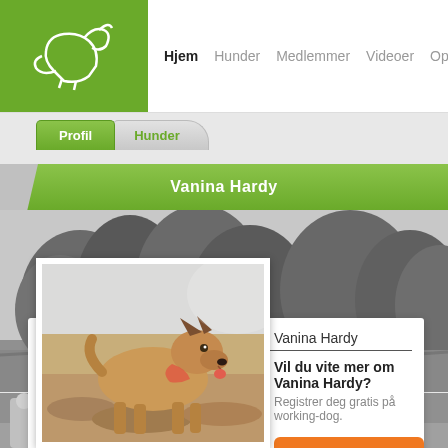Hjem  Hunder  Medlemmer  Videoer  Oppdrett
Profil  Hunder
Vanina Hardy
[Figure (photo): Black and white outdoor photo showing trees and landscape background]
[Figure (photo): Color photo of a dog (Belgian Malinois) standing on rocky ground outdoors]
Vanina Hardy
Vil du vite mer om Vanina Hardy?
Registrer deg gratis på working-dog.
Registrer deg gratis
[Figure (photo): Black and white outdoor scene with people at what appears to be a dog show, sign reading Austria visible]